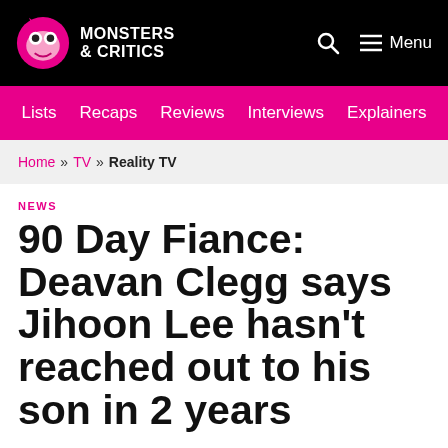Monsters & Critics — Menu
Lists  Recaps  Reviews  Interviews  Explainers
Home » TV » Reality TV
NEWS
90 Day Fiance: Deavan Clegg says Jihoon Lee hasn't reached out to his son in 2 years